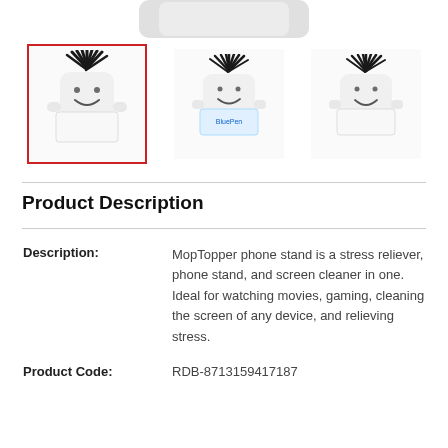[Figure (photo): Three MopTopper phone stand figurines shown as product thumbnails. Each is a white character-shaped stress reliever with black mop-top hair and a smiley face. The leftmost is selected (red border). The middle one shows a blue label. All three are displayed in a row at the top of the page.]
Product Description
| Description: | MopTopper phone stand is a stress reliever, phone stand, and screen cleaner in one. Ideal for watching movies, gaming, cleaning the screen of any device, and relieving stress. |
| Product Code: | RDB-8713159417187 |